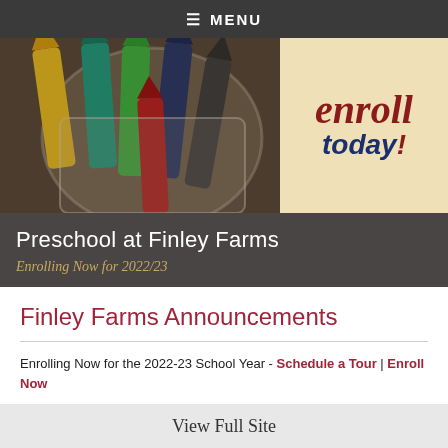☰ MENU
[Figure (photo): Photo of colorful crayons in a glass jar on the left side, with an 'enroll today!' text overlay on a beige/cream background on the right side.]
Preschool at Finley Farms
Enrolling Now for 2022/23
Finley Farms Announcements
Enrolling Now for the 2022-23 School Year - Schedule a Tour | Enroll Now
View Full Site